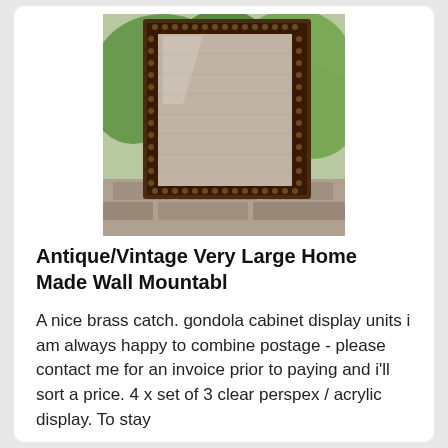[Figure (photo): Photo of an antique/vintage large wall-mountable display cabinet with dark wood frame, shown leaning outdoors against a stone surface with greenery in the background.]
Antique/Vintage Very Large Home Made Wall Mountabl
A nice brass catch. gondola cabinet display units i am always happy to combine postage - please contact me for an invoice prior to paying and i'll sort a price. 4 x set of 3 clear perspex / acrylic display. To stay
ABERGELE
eBay
Price: 100 £